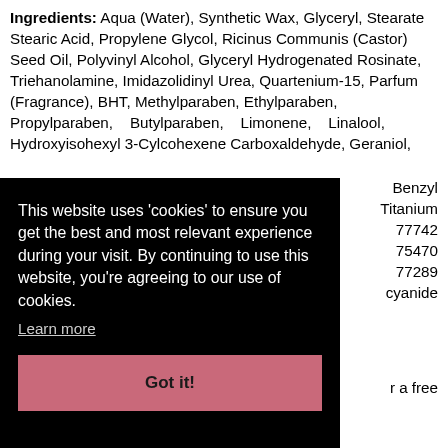Ingredients: Aqua (Water), Synthetic Wax, Glyceryl, Stearate Stearic Acid, Propylene Glycol, Ricinus Communis (Castor) Seed Oil, Polyvinyl Alcohol, Glyceryl Hydrogenated Rosinate, Triehanolamine, Imidazolidinyl Urea, Quartenium-15, Parfum (Fragrance), BHT, Methylparaben, Ethylparaben, Propylparaben, Butylparaben, Limonene, Linalool, Hydroxyisohexyl 3-Cylcohexene Carboxaldehyde, Geraniol, Benzyl Titanium 77742 75470 77289 cyanide
This website uses 'cookies' to ensure you get the best and most relevant experience during your visit. By continuing to use this website, you're agreeing to our use of cookies. Learn more
Got it!
Overall Rating: 3.8 out 5